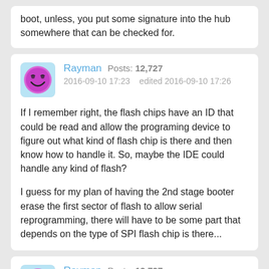boot, unless, you put some signature into the hub somewhere that can be checked for.
Rayman  Posts: 12,727
2016-09-10 17:23    edited 2016-09-10 17:26
If I remember right, the flash chips have an ID that could be read and allow the programing device to figure out what kind of flash chip is there and then know how to handle it. So, maybe the IDE could handle any kind of flash?

I guess for my plan of having the 2nd stage booter erase the first sector of flash to allow serial reprogramming, there will have to be some part that depends on the type of SPI flash chip is there...
Rayman  Posts: 12,727
2016-09-10 17:28